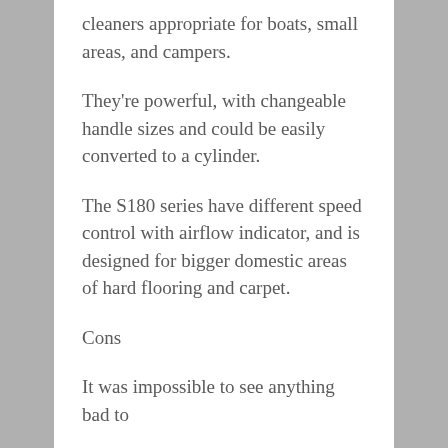cleaners appropriate for boats, small areas, and campers.
They're powerful, with changeable handle sizes and could be easily converted to a cylinder.
The S180 series have different speed control with airflow indicator, and is designed for bigger domestic areas of hard flooring and carpet.
Cons
It was impossible to see anything bad to